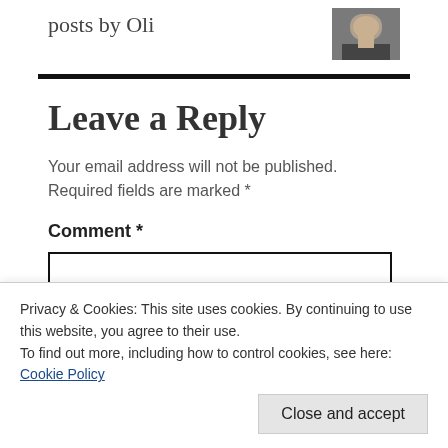posts by Oli
[Figure (photo): Thumbnail photo of a person (Oli) in dark clothing]
Leave a Reply
Your email address will not be published. Required fields are marked *
Comment *
Privacy & Cookies: This site uses cookies. By continuing to use this website, you agree to their use.
To find out more, including how to control cookies, see here: Cookie Policy
Close and accept